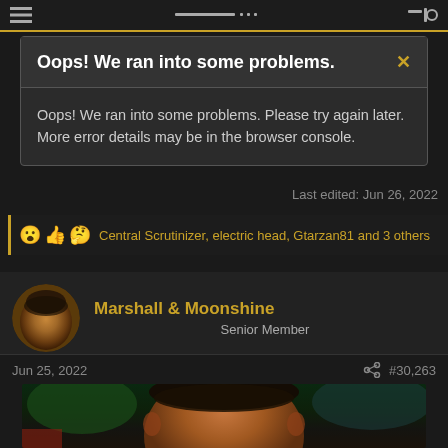Navigation bar
Oops! We ran into some problems.
Oops! We ran into some problems. Please try again later. More error details may be in the browser console.
Last edited: Jun 26, 2022
Central Scrutinizer, electric head, Gtarzan81 and 3 others
Marshall & Moonshine
Senior Member
Jun 25, 2022   #30,263
[Figure (photo): Partial photo of a person's head, dark background with green and blue blurred elements]